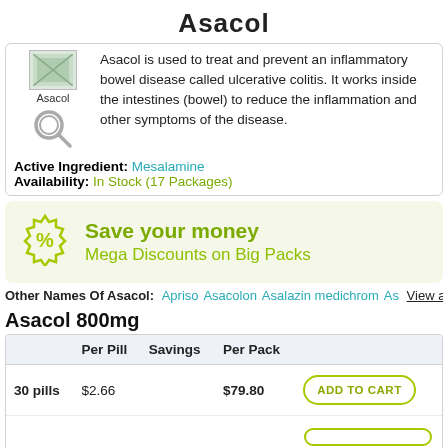Asacol
Asacol is used to treat and prevent an inflammatory bowel disease called ulcerative colitis. It works inside the intestines (bowel) to reduce the inflammation and other symptoms of the disease.
Active Ingredient: Mesalamine
Availability: In Stock (17 Packages)
Save your money
Mega Discounts on Big Packs
Other Names Of Asacol: Apriso Asacolon Asalazin medichrom As... View all
Asacol 800mg
|  | Per Pill | Savings | Per Pack |  |
| --- | --- | --- | --- | --- |
| 30 pills | $2.66 |  | $79.80 | ADD TO CART |